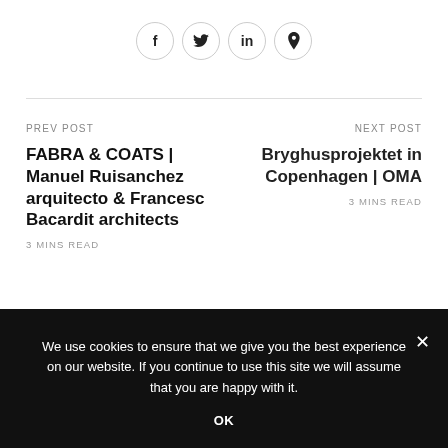[Figure (other): Social media share icons: Facebook (f), Twitter (bird), LinkedIn (in), Pinterest (p) — each in a circle button]
PREV POST
FABRA & COATS | Manuel Ruisanchez arquitecto & Francesc Bacardit architects
3 MINS READ
NEXT POST
Bryghusprojektet in Copenhagen | OMA
3 MINS READ
We use cookies to ensure that we give you the best experience on our website. If you continue to use this site we will assume that you are happy with it.
OK